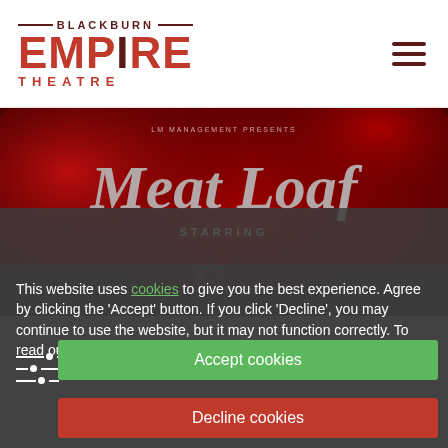[Figure (logo): Blackburn Empire Theatre logo with red text and dark red lines]
[Figure (photo): Meat Loaf concert promotional banner with red background and gothic-style text reading 'Meat Loaf STARRING']
This website uses cookies to give you the best experience. Agree by clicking the 'Accept' button. If you click 'Decline', you may continue to use the website, but it may not function correctly. To read our full privacy policy you can visit here.
Accept cookies
Decline cookies